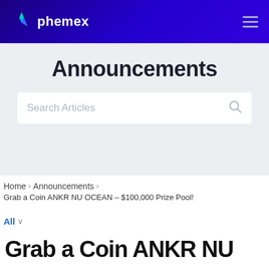phemex
Announcements
Search Articles
Home > Announcements > Grab a Coin ANKR NU OCEAN – $100,000 Prize Pool!
All
Grab a Coin ANKR NU